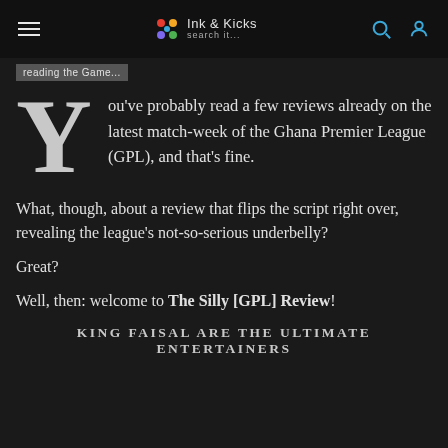Ink & Kicks — navigation bar
ou've probably read a few reviews already on the latest match-week of the Ghana Premier League (GPL), and that's fine.
What, though, about a review that flips the script right over, revealing the league's not-so-serious underbelly?
Great?
Well, then: welcome to The Silly [GPL] Review!
KING FAISAL ARE THE ULTIMATE ENTERTAINERS